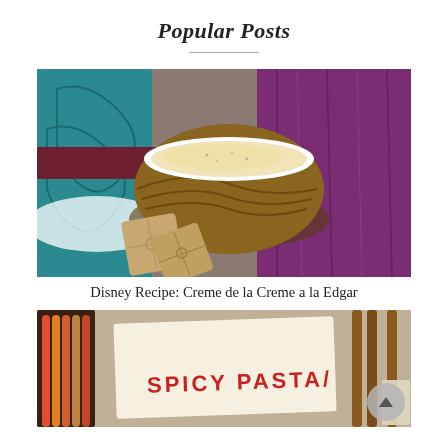Popular Posts
[Figure (photo): A golden bowl filled with creamy soup (Creme de la Creme a la Edgar), placed on a purple/magenta fabric with a teal decorative card and star-shaped crackers in front.]
Disney Recipe: Creme de la Creme a la Edgar
[Figure (photo): A paper note with handwritten red text reading 'SPICY PASTA' on a sandy/concrete background, surrounded by colored pencils on the left and wooden chopsticks on the right.]